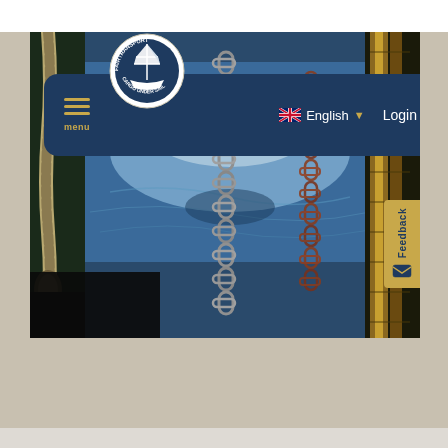[Figure (screenshot): Screenshot of Fairtransport Cargo Under Sail website showing navigation bar with menu, circular logo, English language selector with UK flag, Login button, and a hero photograph of a sailing vessel deck with chains, ropes, and ocean water with sunlight reflections visible. A yellow Feedback tab appears on the right edge.]